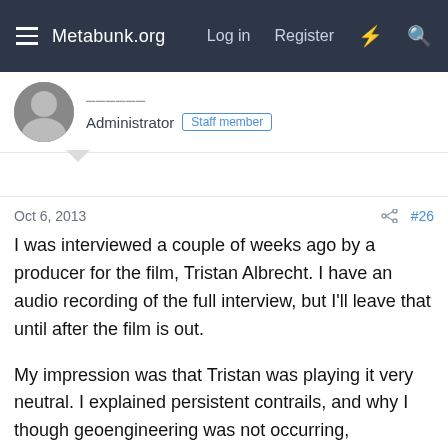Metabunk.org  Log in  Register
Administrator  Staff member
Oct 6, 2013  #26
I was interviewed a couple of weeks ago by a producer for the film, Tristan Albrecht. I have an audio recording of the full interview, but I'll leave that until after the film is out.
My impression was that Tristan was playing it very neutral. I explained persistent contrails, and why I though geoengineering was not occurring, highlighted the big errors (persistence, global dimming, the new UV claims).
He asked me what my reaction would be if trails were sampled, and they found something. I said multiple tests would be needed, and with appropriate scientific rigor. I rambled a bit there though.
He seemed like a fairly serious film maker, striving for